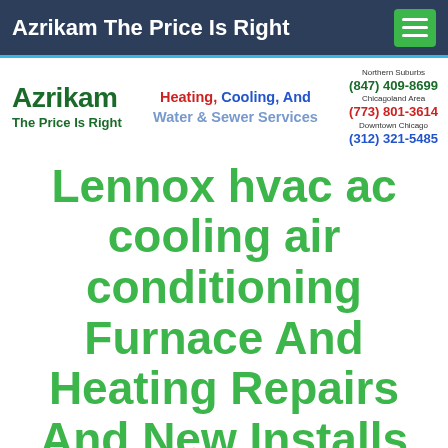Azrikam The Price Is Right
[Figure (logo): Azrikam logo with company name, tagline 'The Price Is Right', services text 'Heating, Cooling, And Water & Sewer Services', and phone numbers for Northern Suburbs (847) 409-8699, Chicagoland Area (773) 801-3614, Downtown Chicago (312) 321-5485]
Lennox hvac ac cooling air conditioning Furnace And Heating Repairs And New Installs
Posted on May 7, 2018